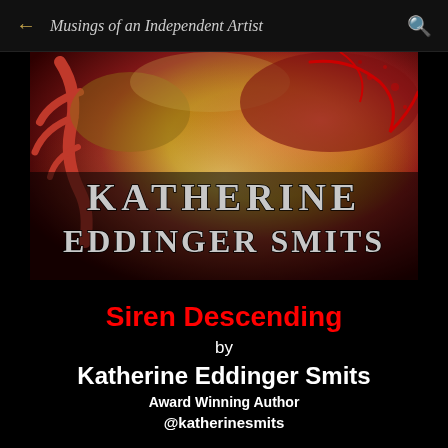← Musings of an Independent Artist 🔍
[Figure (illustration): Book cover for 'Siren Descending' by Katherine Eddinger Smits. Dark red and gold background with organic swirling textures. Large metallic serif text reading 'KATHERINE EDDINGER SMITS' over the dramatic background.]
Siren Descending
by
Katherine Eddinger Smits
Award Winning Author
@katherinesmits